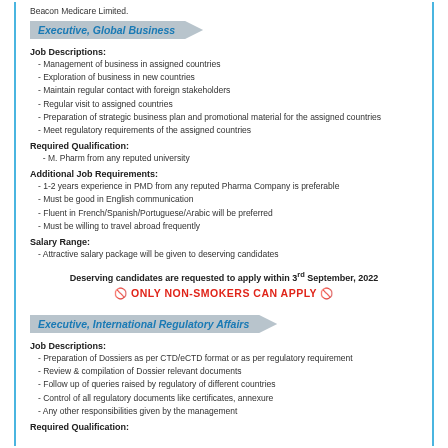Beacon Medicare Limited.
Executive, Global Business
Job Descriptions:
- Management of business in assigned countries
- Exploration of business in new countries
- Maintain regular contact with foreign stakeholders
- Regular visit to assigned countries
- Preparation of strategic business plan and promotional material for the assigned countries
- Meet regulatory requirements of the assigned countries
Required Qualification:
- M. Pharm from any reputed university
Additional Job Requirements:
- 1-2 years experience in PMD from any reputed Pharma Company is preferable
- Must be good in English communication
- Fluent in French/Spanish/Portuguese/Arabic will be preferred
- Must be willing to travel abroad frequently
Salary Range:
- Attractive salary package will be given to deserving candidates
Deserving candidates are requested to apply within 3rd September, 2022
🚫 ONLY NON-SMOKERS CAN APPLY 🚫
Executive, International Regulatory Affairs
Job Descriptions:
- Preparation of Dossiers as per CTD/eCTD format or as per regulatory requirement
- Review & compilation of Dossier relevant documents
- Follow up of queries raised by regulatory of different countries
- Control of all regulatory documents like certificates, annexure
- Any other responsibilities given by the management
Required Qualification: